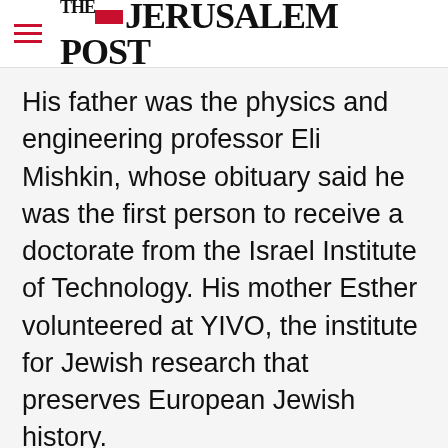THE JERUSALEM POST
His father was the physics and engineering professor Eli Mishkin, whose obituary said he was the first person to receive a doctorate from the Israel Institute of Technology. His mother Esther volunteered at YIVO, the institute for Jewish research that preserves European Jewish history.
Tuesday night wasn't the first time Mishkin angered Republican politicians tracking election
Advertisement